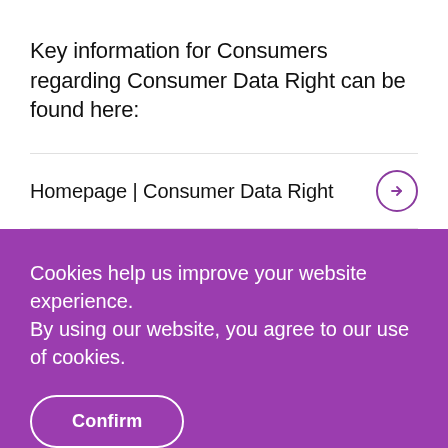Key information for Consumers regarding Consumer Data Right can be found here:
Homepage | Consumer Data Right
Cookies help us improve your website experience.
By using our website, you agree to our use of cookies.
Confirm